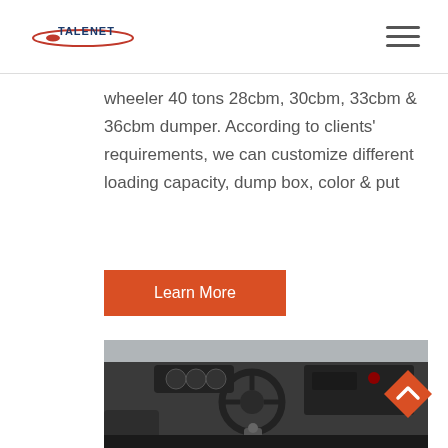[Figure (logo): Talenet logo with red swoosh and blue text]
wheeler 40 tons 28cbm, 30cbm, 33cbm & 36cbm dumper. According to clients' requirements, we can customize different loading capacity, dump box, color & put
[Figure (other): Orange/red 'Learn More' button]
[Figure (photo): Interior view of a truck cab showing steering wheel, dashboard, gear shift and seats]